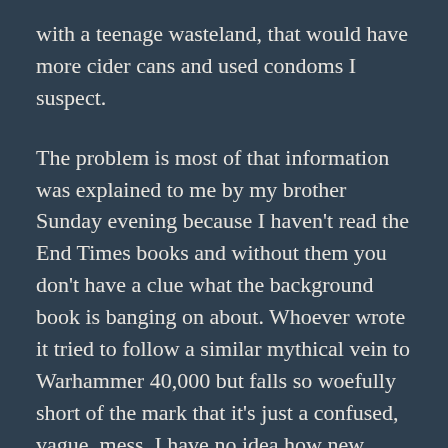with a teenage wasteland, that would have more cider cans and used condoms I suspect.
The problem is most of that information was explained to me by my brother Sunday evening because I haven't read the End Times books and without them you don't have a clue what the background book is banging on about. Whoever wrote it tried to follow a similar mythical vein to Warhammer 40,000 but falls so woefully short of the mark that it's just a confused, vague, mess. I have no idea how new gamers are supposed to understand the first thing about the world when the writer clearly didn't.
And it's not just that it's vague, it's poorly